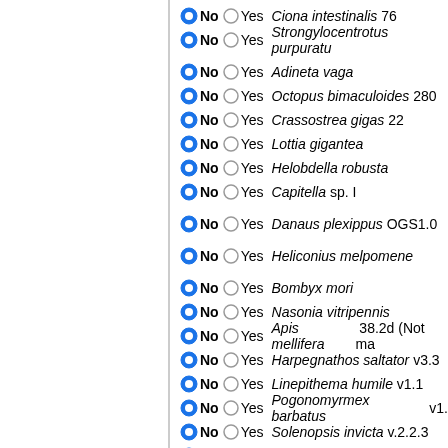No / Yes — Ciona intestinalis 76
No / Yes — Strongylocentrotus purpuratu
No / Yes — Adineta vaga
No / Yes — Octopus bimaculoides 280
No / Yes — Crassostrea gigas 22
No / Yes — Lottia gigantea
No / Yes — Helobdella robusta
No / Yes — Capitella sp. I
No / Yes — Danaus plexippus OGS1.0
No / Yes — Heliconius melpomene
No / Yes — Bombyx mori
No / Yes — Nasonia vitripennis
No / Yes — Apis mellifera 38.2d (Not ma
No / Yes — Harpegnathos saltator v3.3
No / Yes — Linepithema humile v1.1
No / Yes — Pogonomyrmex barbatus v1.
No / Yes — Solenopsis invicta v.2.2.3
No / Yes — Acromyrmex echinatior v3.8
No / Yes — Atta cephalotes v1.1